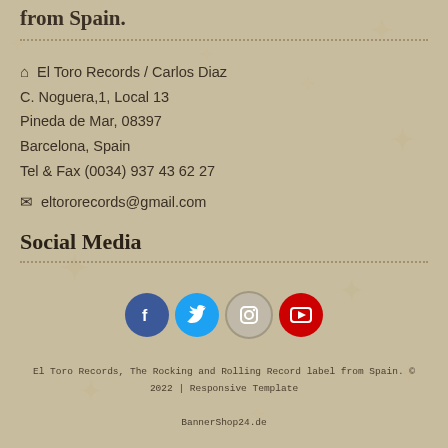from Spain.
El Toro Records / Carlos Diaz
C. Noguera,1, Local 13
Pineda de Mar, 08397
Barcelona, Spain
Tel & Fax (0034) 937 43 62 27
eltororecords@gmail.com
Social Media
[Figure (infographic): Social media icon buttons: Facebook (blue), Twitter (light blue), Instagram (gray), YouTube (red)]
El Toro Records, The Rocking and Rolling Record label from Spain. © 2022 | Responsive Template BannerShop24.de modified eCommerce Shopsoftware © 2009-2022